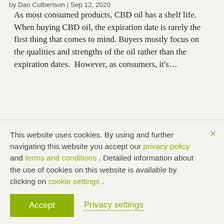by Dan Culbertson | Sep 12, 2020
As most consumed products, CBD oil has a shelf life. When buying CBD oil, the expiration date is rarely the first thing that comes to mind. Buyers mostly focus on the qualities and strengths of the oil rather than the expiration dates.  However, as consumers, it's…
This website uses cookies. By using and further navigating this website you accept our privacy policy and terms and conditions . Detailed information about the use of cookies on this website is available by clicking on cookie settings .